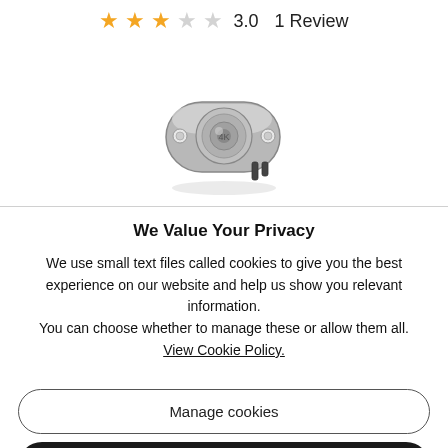[Figure (other): Star rating display: 3 filled orange stars and 2 empty grey stars, showing rating 3.0 with 1 Review]
[Figure (photo): Product photo of a thermostat or thermal cutoff switch component, silver/metallic disc shape with mounting holes and connector leads]
We Value Your Privacy
We use small text files called cookies to give you the best experience on our website and help us show you relevant information.
You can choose whether to manage these or allow them all. View Cookie Policy.
Manage cookies
Allow all